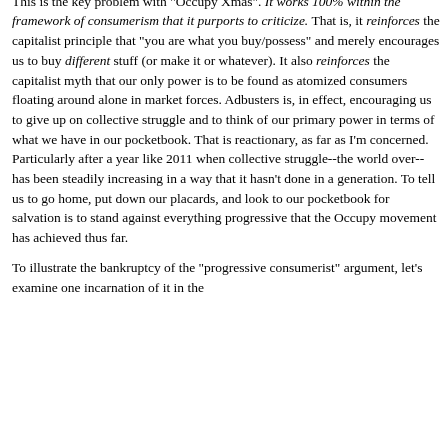to the outsized political influence that the 1 percent wields.
This is the key problem with "Occupy Xmas". It works 100% within the framework of consumerism that it purports to criticize. That is, it reinforces the capitalist principle that "you are what you buy/possess" and merely encourages us to buy different stuff (or make it or whatever). It also reinforces the capitalist myth that our only power is to be found as atomized consumers floating around alone in market forces. Adbusters is, in effect, encouraging us to give up on collective struggle and to think of our primary power in terms of what we have in our pocketbook. That is reactionary, as far as I'm concerned. Particularly after a year like 2011 when collective struggle--the world over--has been steadily increasing in a way that it hasn't done in a generation. To tell us to go home, put down our placards, and look to our pocketbook for salvation is to stand against everything progressive that the Occupy movement has achieved thus far.
To illustrate the bankruptcy of the "progressive consumerist" argument, let's examine one incarnation of it in the